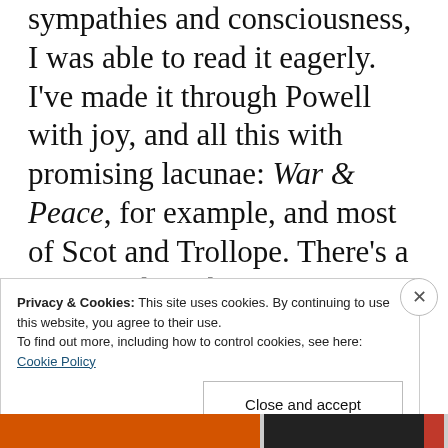sympathies and consciousness, I was able to read it eagerly. I've made it through Powell with joy, and all this with promising lacunae: War & Peace, for example, and most of Scot and Trollope. There's a lot of garbage being written, but not all of what is written is garbage. Interesting books have been
Privacy & Cookies: This site uses cookies. By continuing to use this website, you agree to their use.
To find out more, including how to control cookies, see here:
Cookie Policy
Close and accept